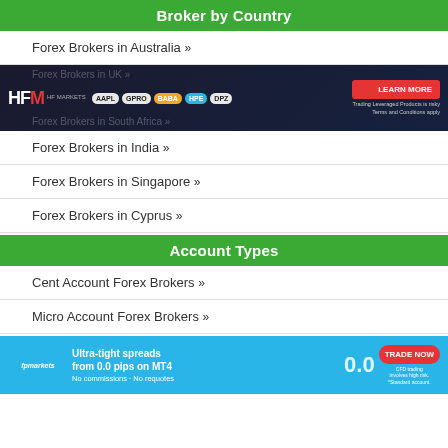Broker by Country
Forex Brokers in Australia »
[Figure (photo): HF Markets advertisement banner showing stock symbols AAPL, GPRO, BABA, HPE, DPZ with Learn More button]
Forex Brokers in India »
Forex Brokers in Singapore »
Forex Brokers in Cyprus »
Account Types
Cent Account Forex Brokers »
Micro Account Forex Brokers »
[Figure (photo): FP Markets advertisement banner: Ultra-tight spreads from 0.0 pips on MT4, No commissions - No requotes, Trade Now button]